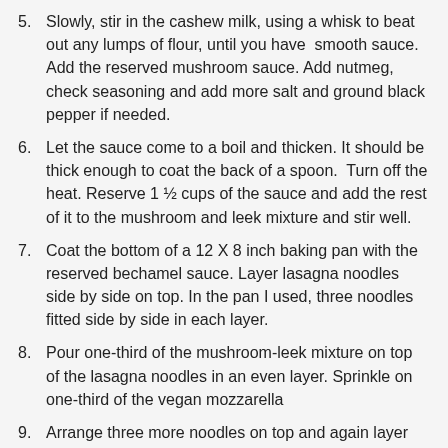5. Slowly, stir in the cashew milk, using a whisk to beat out any lumps of flour, until you have smooth sauce. Add the reserved mushroom sauce. Add nutmeg, check seasoning and add more salt and ground black pepper if needed.
6. Let the sauce come to a boil and thicken. It should be thick enough to coat the back of a spoon. Turn off the heat. Reserve 1 ½ cups of the sauce and add the rest of it to the mushroom and leek mixture and stir well.
7. Coat the bottom of a 12 X 8 inch baking pan with the reserved bechamel sauce. Layer lasagna noodles side by side on top. In the pan I used, three noodles fitted side by side in each layer.
8. Pour one-third of the mushroom-leek mixture on top of the lasagna noodles in an even layer. Sprinkle on one-third of the vegan mozzarella
9. Arrange three more noodles on top and again layer on one-third of the mushrooms and leeks and the mozzarella. Repeat one more time, and finish off by layering mushrooms and leeks, mozzarella, and the vegan parmesan on the top layer.
10. Cover the lasagna pan with tinfoil and bake in the preheated